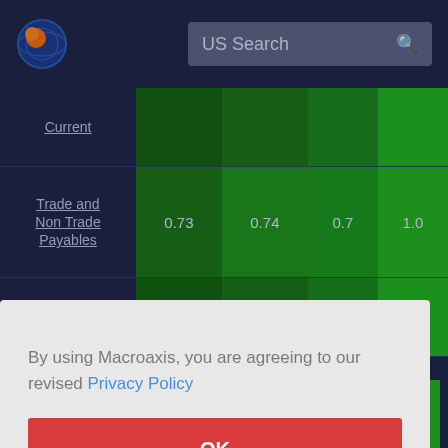[Figure (logo): Macroaxis globe logo with orange and blue colors]
US Search
|  | Col1 | Col2 | Col3 | Col4 |
| --- | --- | --- | --- | --- |
| Current |  |  |  |  |
| Trade and Non Trade Payables | 0.73 | 0.74 | 0.7 | 1.0 |
| Property |  |  |  | 1.0 |
|  |  |  |  | 1.0 |
By using Macroaxis, you are agreeing to our revised Privacy Policy
OK